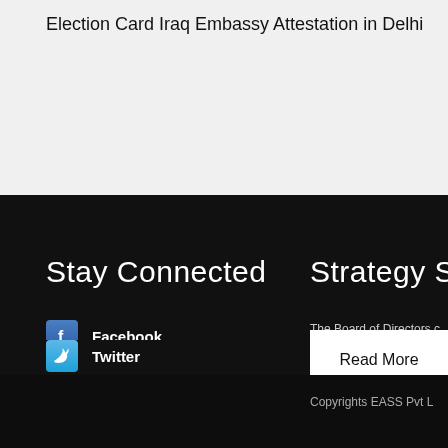Election Card Iraq Embassy Attestation in Delhi
Stay Connected
Strategy Solutio…
Facebook
Twitter
Linked In
Blog
The Board of Directors capable and enough expe free, cost effective, on ti to its valued customers.
Read More
Copyrights EASS Pvt L…